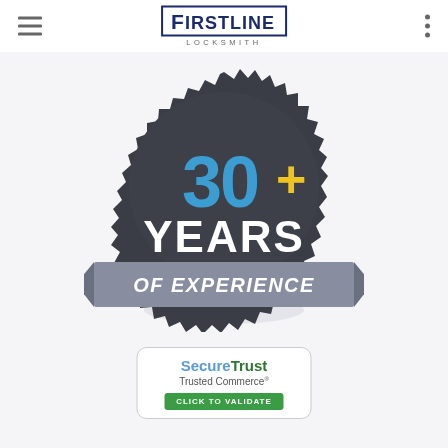Firstline Locksmith — navigation header
[Figure (logo): Badge graphic: dark grey serrated circle badge with '30+' in blue and yellow, 'YEARS' in white bold text, grey ribbon banner with 'OF EXPERIENCE' in white italic text, and a reflection shadow below]
[Figure (logo): SecureTrust Trusted Commerce badge: white rounded rectangle with 'SecureTrust' in blue/green text, 'Trusted Commerce' in grey, and a green 'CLICK TO VALIDATE' button]